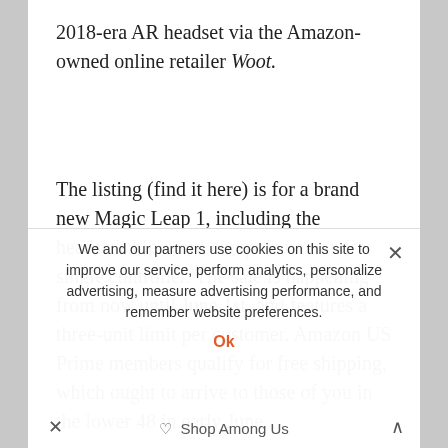2018-era AR headset via the Amazon-owned online retailer Woot.
The listing (find it here) is for a brand new Magic Leap 1, including the headset’s hip-worn compute unit and single controller. The sale is happening from now until June 1st, and features a three-unit limit per customer. Amazon US Prime members qualify for free shipping, which ought to arrive to those of you in the lower 48 in early June.
If you’re tempted, there’s a few things you (partially obscured) button. Users should be warned that close (partially obscured)
We and our partners use cookies on this site to improve our service, perform analytics, personalize advertising, measure advertising performance, and remember website preferences.